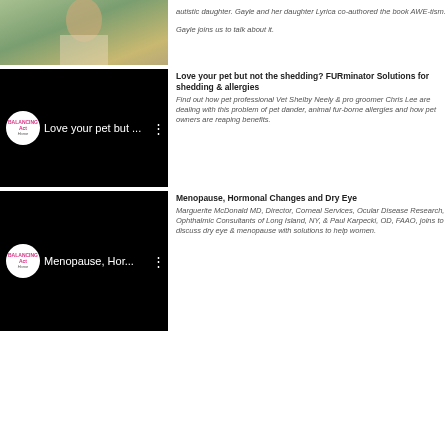[Figure (screenshot): Video thumbnail showing a person, with green/warm toned background]
autistic daughter. Gayle and her daughter Lyrica co-authored the book AWE-tism. Gayle joins us to talk about it.
[Figure (screenshot): Black video thumbnail with Balancing Act logo and title 'Love your pet but ...']
Love your pet but not the shedding? FURminator Solutions for shedding & allergies
Find out how pet professional Vet Shelby Neely & pro groomer Chris Lee are dealing with this problem of pet dander, animal fur-borne allergies and how pet owners are reaping benefits.
[Figure (screenshot): Black video thumbnail with Balancing Act logo and title 'Menopause, Hor...']
Menopause, Hormonal Changes and Dry Eye
Marguerite McDonald MD, Director, Corneal Services, Ocular Disease Research, Ophthalmic Consultants of Long Island, NY, & Paul Karpecki, OD, FAAO, joins to discuss dry eye & menopause with solutions to help women.